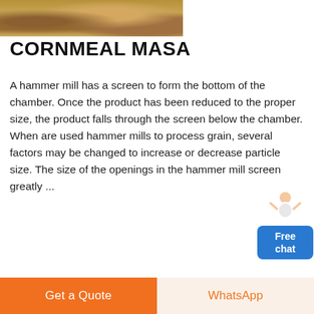[Figure (photo): Close-up photo of sandy/rocky ground material, brownish-golden in color]
CORNMEAL MASA
A hammer mill has a screen to form the bottom of the chamber. Once the product has been reduced to the proper size, the product falls through the screen below the chamber. When are used hammer mills to process grain, several factors may be changed to increase or decrease particle size. The size of the openings in the hammer mill screen greatly ...
[Figure (photo): Photo of a large yellow excavator/crane at a mining or construction site with blue sky and clouds in the background]
Get a Quote
WhatsApp